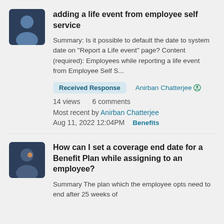[Figure (illustration): User avatar: dark navy square with rounded corners showing a cartoon person bust silhouette]
adding a life event from employee self service
Summary: Is it possible to default the date to system date on "Report a Life event" page? Content (required): Employees while reporting a life event from Employee Self S...
Received Response   Anirban Chatterjee
14 views   6 comments
Most recent by Anirban Chatterjee
Aug 11, 2022 12:04PM   Benefits
[Figure (illustration): User avatar: dark navy square with rounded corners showing a cartoon person bust silhouette]
How can I set a coverage end date for a Benefit Plan while assigning to an employee?
Summary The plan which the employee opts need to end after 25 weeks of